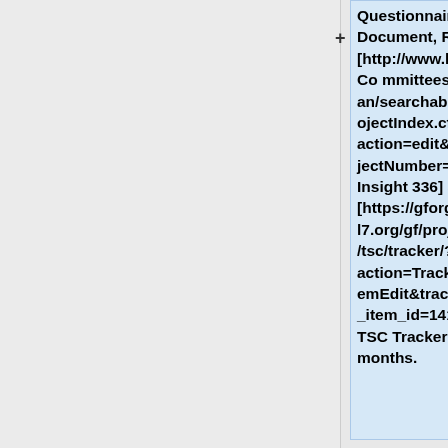Questionnaire Response Document, Release 1" at [http://www.hl7.org/special/Committees/projman/searchableProjectIndex.cfm?action=edit&ProjectNumber=336 Project Insight 336] and [https://gforge.hl7.org/gf/project/tsc/tracker/?action=TrackerItemEdit&tracker_item_id=14109&start=0 TSC Tracker 14109] for 12 months.